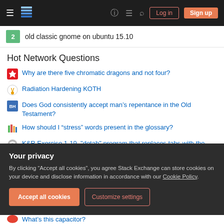Stack Exchange navigation bar with Log in and Sign up buttons
2  old classic gnome on ubuntu 15.10
Hot Network Questions
Why are there five chromatic dragons and not four?
Radiation Hardening KOTH
Does God consistently accept man's repentance in the Old Testament?
How should I "stress" words present in the glossary?
K&R Exercise 1-19. "detab" program that replaces tabs with the appropriate number of blanks
How would you calculate the "day" on a planet orbiting a red dwarf...
Your privacy
By clicking "Accept all cookies", you agree Stack Exchange can store cookies on your device and disclose information in accordance with our Cookie Policy.
What's this capacitor?